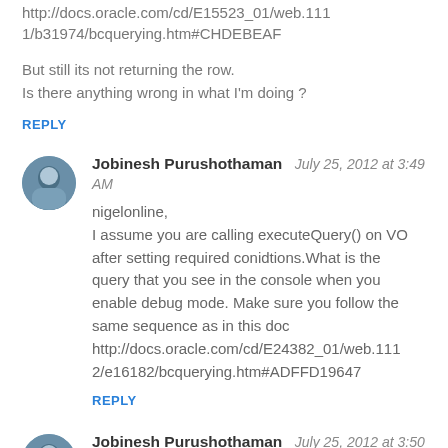http://docs.oracle.com/cd/E15523_01/web.1111/b31974/bcquerying.htm#CHDEBEAF
But still its not returning the row.
Is there anything wrong in what I'm doing ?
REPLY
Jobinesh Purushothaman   July 25, 2012 at 3:49 AM
nigelonline,
I assume you are calling executeQuery() on VO after setting required conidtions.What is the query that you see in the console when you enable debug mode. Make sure you follow the same sequence as in this doc http://docs.oracle.com/cd/E24382_01/web.1112/e16182/bcquerying.htm#ADFFD19647
REPLY
Jobinesh Purushothaman   July 25, 2012 at 3:50 AM
Batimba,
Your code looks fine, can you send me the stack trace.